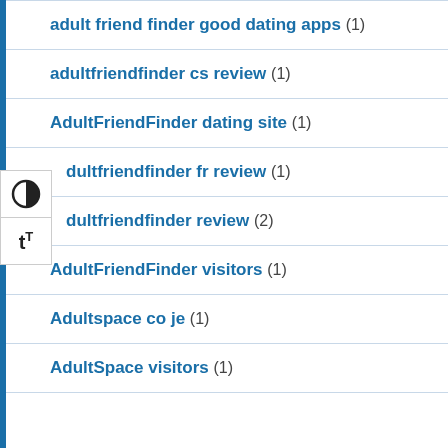adult friend finder good dating apps (1)
adultfriendfinder cs review (1)
AdultFriendFinder dating site (1)
dultfriendfinder fr review (1)
dultfriendfinder review (2)
AdultFriendFinder visitors (1)
Adultspace co je (1)
AdultSpace visitors (1)